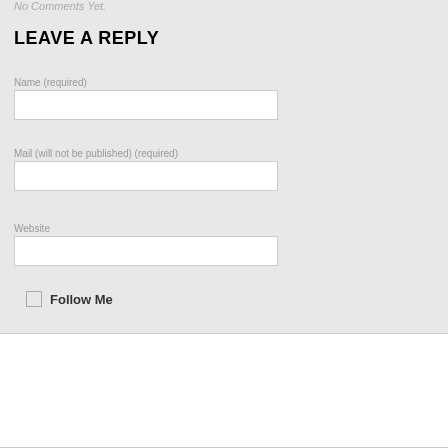No Comments Yet.
LEAVE A REPLY
Name (required)
Mail (will not be published) (required)
Website
Follow Me